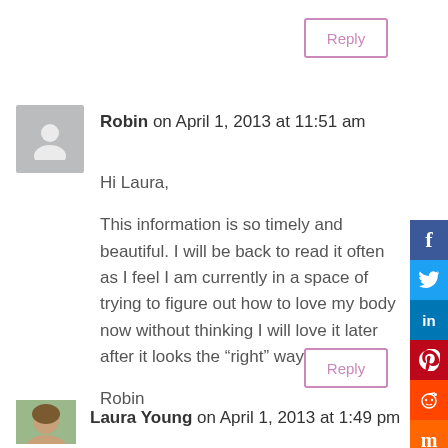[Figure (other): Reply button (top, partially visible) with purple border]
[Figure (other): Gray avatar placeholder silhouette icon for commenter Robin]
Robin on April 1, 2013 at 11:51 am
Hi Laura,

This information is so timely and beautiful. I will be back to read it often as I feel I am currently in a space of trying to figure out how to love my body now without thinking I will love it later after it looks the “right” way!

Robin
[Figure (other): Reply button with purple border]
[Figure (other): Social media sharing sidebar with Facebook, Twitter, LinkedIn, Pinterest, Reddit, Stumbleupon/Mix, Email buttons]
[Figure (photo): Small profile photo of Laura Young]
Laura Young on April 1, 2013 at 1:49 pm